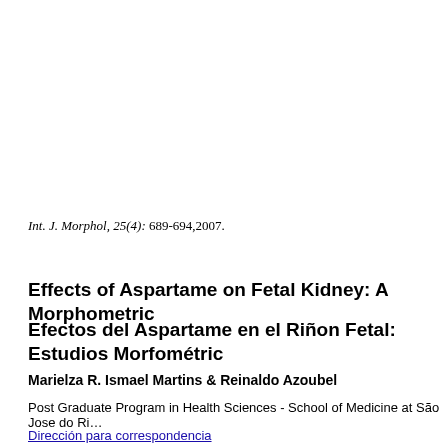Int. J. Morphol, 25(4): 689-694,2007.
Effects of Aspartame on Fetal Kidney: A Morphometric...
Efectos del Aspartame en el Riñon Fetal: Estudios Morfométric...
Marielza R. Ismael Martins & Reinaldo Azoubel
Post Graduate Program in Health Sciences - School of Medicine at São Jose do Ri...
Dirección para correspondencia